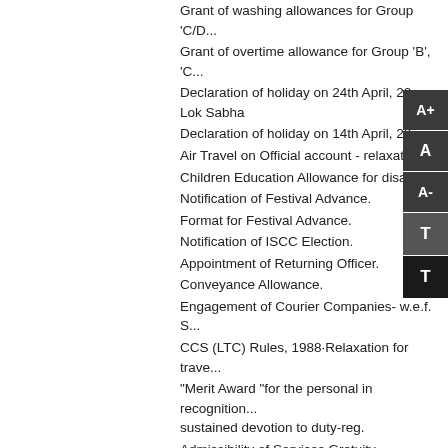Grant of washing allowances for Group 'C/D...
Grant of overtime allowance for Group 'B', 'C...
Declaration of holiday on 24th April, 20... Lok Sabha
Declaration of holiday on 14th April, 20...
Air Travel on Official account - relaxatio...
Children Education Allowance for disab...
Notification of Festival Advance.
Format for Festival Advance.
Notification of ISCC Election.
Appointment of Returning Officer.
Conveyance Allowance.
Engagement of Courier Companies- w.e.f. S...
CCS (LTC) Rules, 1988-Relaxation for trave...
"Merit Award "for the personal in recognition... sustained devotion to duty-reg.
Admissibility of Services Gratuity, Retiremen...
Extension of out-soured pathology services...
Engagement of Courier Companies-w.e.f. Ju...
Enhancement of stipend of apprentice traine...